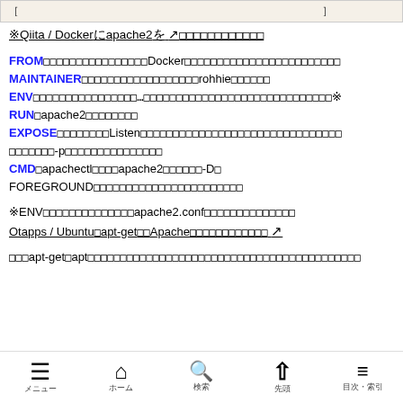[ … … … … … … … … … … … … ]
※Qiita / Dockerにapache2を □□□□□□□□□□□□
FROM□□□□□□□□□□□□□□□□Docker□□□□□□□□□□□□□□□□□□□□□□□□
MAINTAINER□□□□□□□□□□□□□□□□□□rohhie□□□□□□
ENV□□□□□□□□□□□□□□□□□…□□□□□□□□□□□□□□□□□□□□□□□□□□□□□※
RUN□apache2□□□□□□□□
EXPOSE□□□□□□□□□Listen□□□□□□□□□□□□□□□□□□□□□□□□□□□□□□□
□□□□□□□-p□□□□□□□□□□□□□□□
CMD□apachectl□□□□apache2□□□□□□-D□
FOREGROUND□□□□□□□□□□□□□□□□□□□□□□□
※ENV□□□□□□□□□□□□□□apache2.conf□□□□□□□□□□□□□□
Otapps / Ubuntu□apt-get□□Apache□□□□□□□□□□□□ 🔗
□□□apt-get□apt□□□□□□□□□□□□□□□□□□□□□□□□□□□□□□□□□□□□□□□□□□
メニュー　ホーム　検索　先頭　目次・索引